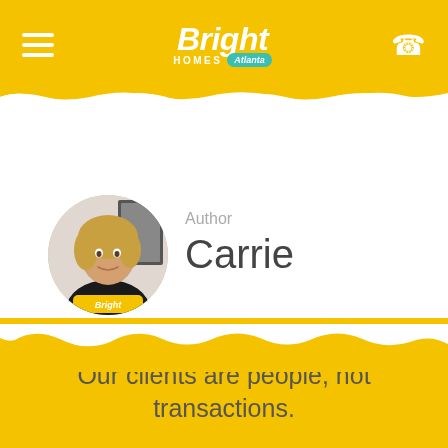Bright Homes Atlanta
[Figure (photo): Circular profile photo of Carrie, a blonde woman in a black jacket, with Bright Homes Atlanta logo badge at the bottom of the circle]
Author
Carrie
Our clients are people, not transactions.